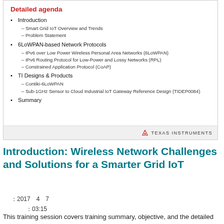[Figure (screenshot): Slide showing 'Detailed agenda' with bullet points: Introduction (Smart Grid IoT Overview and Trends, Problem Statement), 6LoWPAN-based Network Protocols (IPv6 over Low Power Wireless Personal Area Networks (6LoWPAN), IPv6 Routing Protocol for Low-Power and Lossy Networks (RPL), Constrained Application Protocol (CoAP)), TI Designs & Products (Contiki-6LoWPAN, Sub-1GHz Sensor to Cloud Industrial IoT Gateway Reference Design (TIDEP0084)), Summary. Texas Instruments logo in footer.]
Introduction: Wireless Network Challenges and Solutions for a Smarter Grid IoT
: 2017  4  7
: 03:15
This training session covers training summary, objective, and the detailed agenda for the training series.